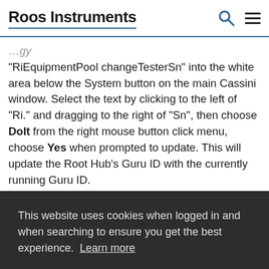Roos Instruments
"RiEquipmentPool changeTesterSn" into the white area below the System button on the main Cassini window. Select the text by clicking to the left of "Ri." and dragging to the right of "Sn", then choose DoIt from the right mouse button click menu, choose Yes when prompted to update. This will update the Root Hub's Guru ID with the currently running Guru ID.
This website uses cookies when logged in and when searching to ensure you get the best experience. Learn more
Dismiss
Allow cookies
This will match the tester sn to the EPC when the tester has